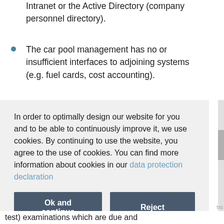Intranet or the Active Directory (company personnel directory).
The car pool management has no or insufficient interfaces to adjoining systems (e.g. fuel cards, cost accounting).
In order to optimally design our website for you and to be able to continuously improve it, we use cookies. By continuing to use the website, you agree to the use of cookies. You can find more information about cookies in our data protection declaration
Ok and continue   Reject
test) examinations which are due and